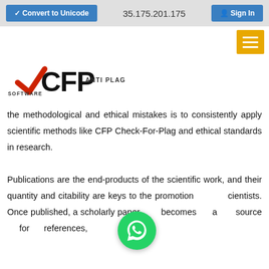Convert to Unicode | 35.175.201.175 | Sign In
[Figure (logo): CFP Check-For-Plag Anti Plagiarism Software logo with red checkmark]
the methodological and ethical mistakes is to consistently apply scientific methods like CFP Check-For-Plag and ethical standards in research.
Publications are the end-products of the scientific work, and their quantity and citability are keys to the promotion of scientists. Once published, a scholarly paper becomes a source for references,